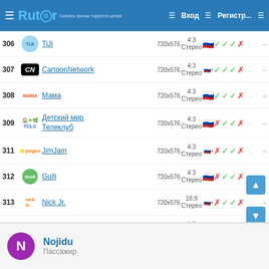Rutor — Вход — Регистр...
| # | Logo | Name | Resolution | Ratio/Audio | Flags | Checks |  |  |
| --- | --- | --- | --- | --- | --- | --- | --- | --- |
| 306 | TiJi | TiJi | 720x576 | 4:3 Стерео | 🇷🇺 | ✓ ✓ ✓ ✗ | . | – |
| 307 | CN | CartoonNetwork | 720x576 | 4:3 Стерео | 🇷🇺+ | ✓ ✓ ✓ ✗ | . | – |
| 308 | мама | Мама | 720x576 | 4:3 Стерео | 🇷🇺 | ✓ ✓ ✓ ✗ | . | – |
| 309 | Детский мир Телеклуб | Детский мир Телеклуб | 720x576 | 4:3 Стерео | 🇷🇺 | ✗ ✓ ✓ ✗ | . | – |
| 311 | JimJam | JimJam | 720x576 | 4:3 Стерео | 🇷🇺+ | ✗ ✓ ✓ ✗ | . | – |
| 312 | Gulli | Gulli | 720x576 | 4:3 Стерео | 🇷🇺 | ✗ ✓ ✓ ✗ | . | – |
| 313 | Nick Jr. | Nick Jr. | 720x576 | 16:9 Стерео | 🇷🇺+ | ✗ ✓ ✓ ✗ | . | – |
| 314 | BabyTV | BabyTV | 720x576 | 4:3 Стерео | 🇷🇺 | ✗ ✓ ✓ ✗ | . | – |
| 315 | Boomerang | Boomerang | 720x576 | 4:3 Стерео | 🇷🇺+ | ✗ ✓ ✓ ✗ | . | – |
УВЛЕЧЕНИЯ / РАЗВЛЕЧЕНИЯ
| # | Logo | Name | Resolution | Ratio/Audio | Flags | Checks |  |  |
| --- | --- | --- | --- | --- | --- | --- | --- | --- |
| 400 | TLC | TLC | 720x576 | 16:9 Стерео | 🇷🇺+ | ✓ ✓ ✓ ✗ | . | – |
| 401 | Бобёр | Бобёр | 720x576 | 16:9 Стерео | 🇷🇺 | ✓ ✓ ✓ ✗ | . | – |
| 403 | FashionTV | FashionTV | 720x576 | 16:9 Стерео | 🇷🇺 | ✓ ✓ ✓ ✗ | . | – |
Nojidu — Пассажир